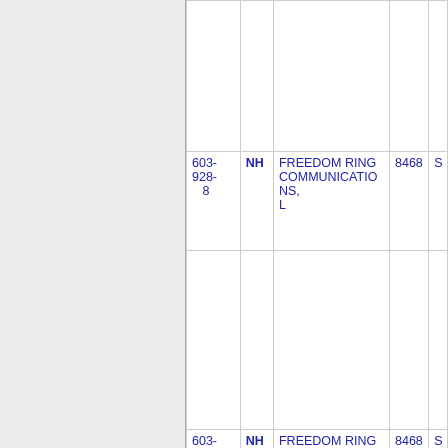| Phone | State | Name | Number | Extra |
| --- | --- | --- | --- | --- |
| 603-928-8 | NH | FREEDOM RING COMMUNICATIONS, L | 8468 | S |
| 603- | NH | FREEDOM RING | 8468 | S |